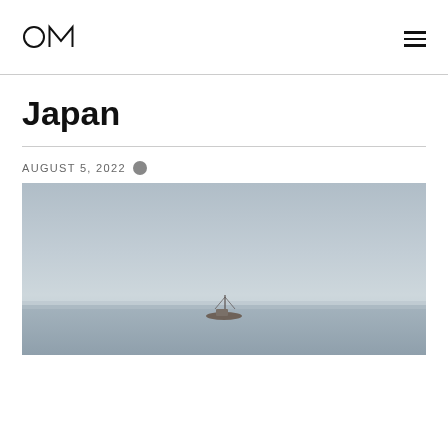OM (logo) — hamburger menu
Japan
AUGUST 5, 2022
[Figure (photo): Minimalist seascape photograph showing a small boat on calm water with a pale grey sky, taken in Japan. The boat appears small against the expansive water and sky.]